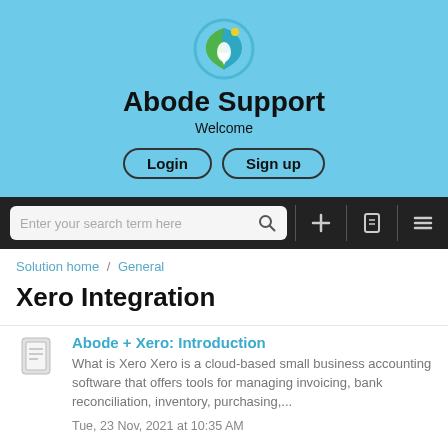[Figure (logo): Abode Support logo: circular icon with green leaf/teardrop shape and teal/yellow accents on light blue header background]
Abode Support
Welcome
Login   Sign up
[Figure (screenshot): Navigation bar with search input 'Enter your search term here', plus, document, and hamburger menu icons on dark background]
Solution home / General
Xero Integration
Abode + Xero: Introduction
What is Xero Xero is a cloud-based small business accounting software that offers tools for managing invoicing, bank reconciliation, inventory, purchasing,...
Tue, 23 Nov, 2021 at 10:35 AM